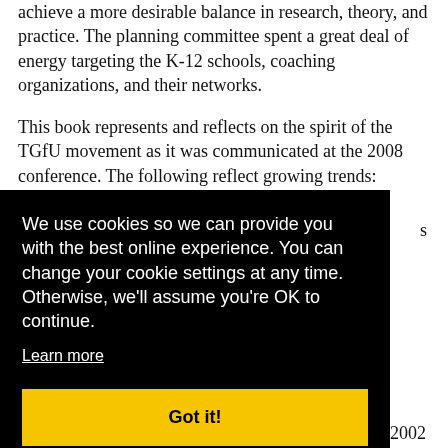achieve a more desirable balance in research, theory, and practice. The planning committee spent a great deal of energy targeting the K-12 schools, coaching organizations, and their networks.
This book represents and reflects on the spirit of the TGfU movement as it was communicated at the 2008 conference. The following reflect growing trends:
We use cookies so we can provide you with the best online experience. You can change your cookie settings at any time. Otherwise, we'll assume you're OK to continue.
Learn more
Got it!
form of a
ant from 2002